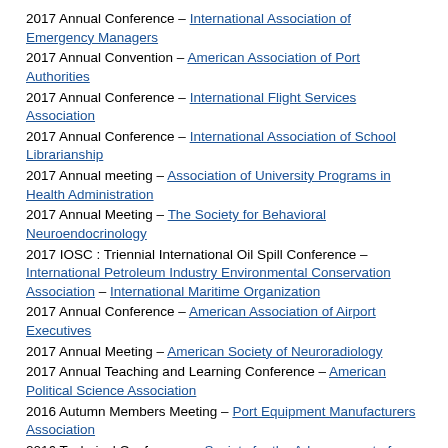2017 Annual Conference – International Association of Emergency Managers
2017 Annual Convention – American Association of Port Authorities
2017 Annual Conference – International Flight Services Association
2017 Annual Conference – International Association of School Librarianship
2017 Annual meeting – Association of University Programs in Health Administration
2017 Annual Meeting – The Society for Behavioral Neuroendocrinology
2017 IOSC : Triennial International Oil Spill Conference – International Petroleum Industry Environmental Conservation Association – International Maritime Organization
2017 Annual Conference – American Association of Airport Executives
2017 Annual Meeting – American Society of Neuroradiology
2017 Annual Teaching and Learning Conference – American Political Science Association
2016 Autumn Members Meeting – Port Equipment Manufacturers Association
2016 Technical Conference – Society for the Advancement of Material and Process Engineering
2015 Annual Conference – Airports Council International